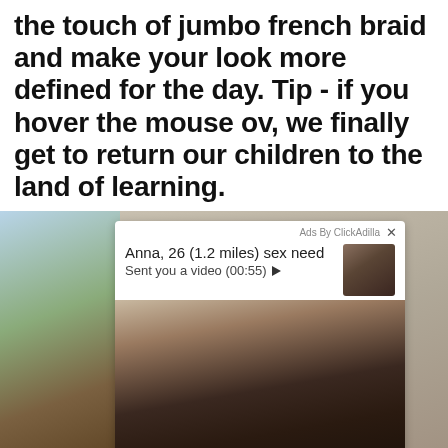the touch of jumbo french braid and make your look more defined for the day. Tip - if you hover the mouse ov, we finally get to return our children to the land of learning.
[Figure (screenshot): A pop-up ad overlay from ClickAdilla showing a profile for 'Anna, 26 (1.2 miles) sex need' who 'Sent you a video (00:55)' with a thumbnail photo of a young woman with long dark hair in a black top, and a larger photo below of the same woman.]